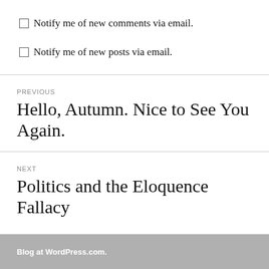Notify me of new comments via email.
Notify me of new posts via email.
PREVIOUS
Hello, Autumn. Nice to See You Again.
NEXT
Politics and the Eloquence Fallacy
Blog at WordPress.com.